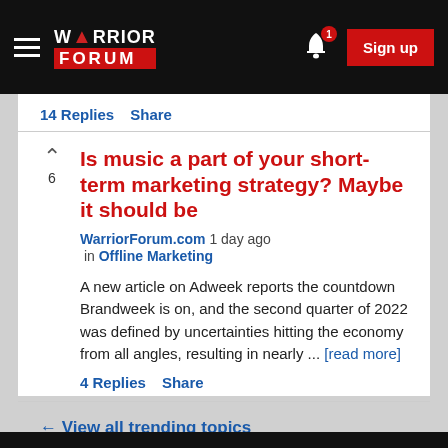[Figure (screenshot): Warrior Forum navigation bar with hamburger menu, logo, bell notification icon with badge '1', and red Sign up button]
14 Replies  Share
Is music a part of your short-term marketing strategy? Maybe it should be
WarriorForum.com 1 day ago in Offline Marketing
A new article on Adweek reports the countdown Brandweek is on, and the second quarter of 2022 was defined by uncertainties hitting the economy from all angles, resulting in nearly ... [read more]
4 Replies  Share
← View all trending topics